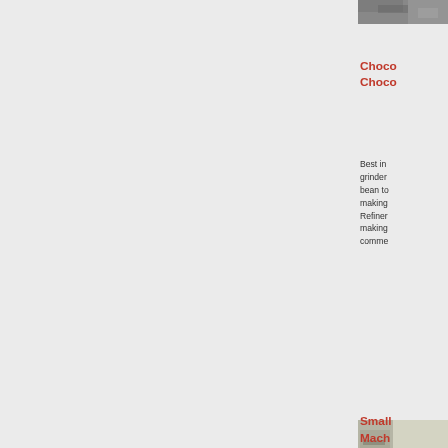[Figure (photo): Partial photo of chocolate grinder machine at top right, cropped]
Choco...
Choco...
Best in... grinder... bean to... making... Refiner... making... comme...
[Figure (photo): Photo of chocolate making machine with mint green ball/sphere detail, industrial equipment]
Small...
Mach...